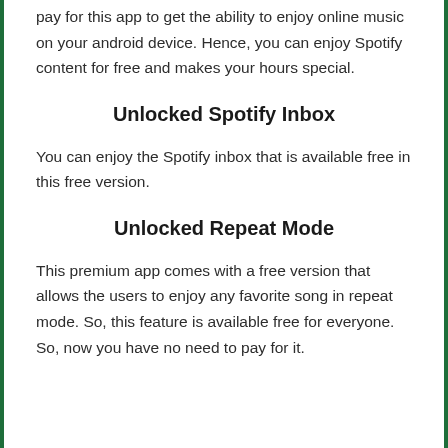pay for this app to get the ability to enjoy online music on your android device. Hence, you can enjoy Spotify content for free and makes your hours special.
Unlocked Spotify Inbox
You can enjoy the Spotify inbox that is available free in this free version.
Unlocked Repeat Mode
This premium app comes with a free version that allows the users to enjoy any favorite song in repeat mode. So, this feature is available free for everyone. So, now you have no need to pay for it.